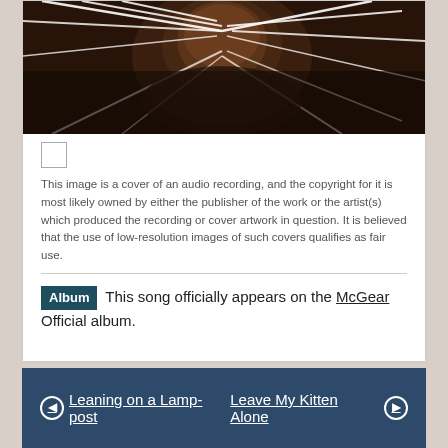[Figure (photo): Album cover art showing a person with white cords or strings radiating outward, dark toned image, appears to be McGear album cover.]
[Figure (other): Small empty checkbox/thumbnail area]
This image is a cover of an audio recording, and the copyright for it is most likely owned by either the publisher of the work or the artist(s) which produced the recording or cover artwork in question. It is believed that the use of low-resolution images of such covers qualifies as fair use.
Album This song officially appears on the McGear Official album.
Leaning on a Lamp-post    Leave My Kitten Alone